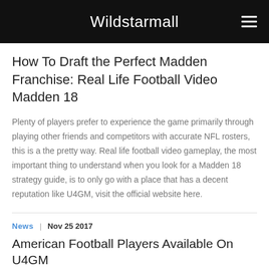Wildstarmall
How To Draft the Perfect Madden Franchise: Real Life Football Video Madden 18
Plenty of players prefer to experience the game primarily through playing other friends and competitors with accurate NFL rosters, this is a the pretty way. Real life football video gameplay, the most important thing to understand when you look for a Madden 18 strategy guide, is to only go with a place that has a decent reputation like U4GM, visit the official website here.
News  |  Nov 25 2017
American Football Players Available On U4GM